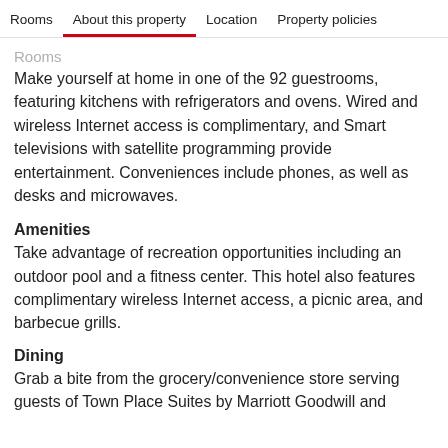Rooms   About this property   Location   Property policies
Rooms
Make yourself at home in one of the 92 guestrooms, featuring kitchens with refrigerators and ovens. Wired and wireless Internet access is complimentary, and Smart televisions with satellite programming provide entertainment. Conveniences include phones, as well as desks and microwaves.
Amenities
Take advantage of recreation opportunities including an outdoor pool and a fitness center. This hotel also features complimentary wireless Internet access, a picnic area, and barbecue grills.
Dining
Grab a bite from the grocery/convenience store serving guests of Town Place Suites by Marriott Goodwill and...